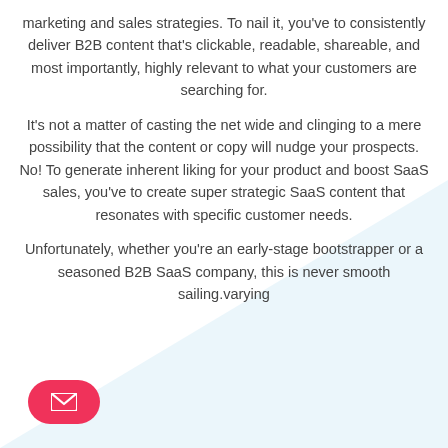marketing and sales strategies. To nail it, you've to consistently deliver B2B content that's clickable, readable, shareable, and most importantly, highly relevant to what your customers are searching for.
It's not a matter of casting the net wide and clinging to a mere possibility that the content or copy will nudge your prospects. No! To generate inherent liking for your product and boost SaaS sales, you've to create super strategic SaaS content that resonates with specific customer needs.
Unfortunately, whether you're an early-stage bootstrapper or a seasoned B2B SaaS company, this is never smooth sailing.varying